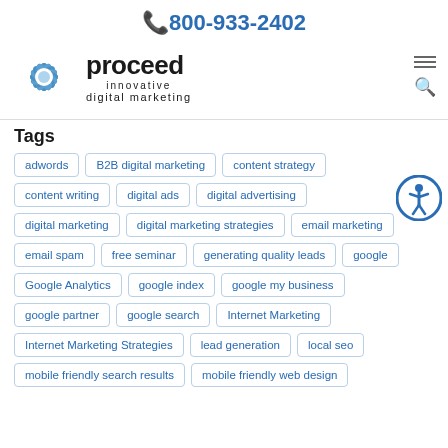📞 800-933-2402
[Figure (logo): Proceed Innovative Digital Marketing logo with snowflake/starburst icon and text 'proceed innovative digital marketing']
Tags
adwords
B2B digital marketing
content strategy
content writing
digital ads
digital advertising
digital marketing
digital marketing strategies
email marketing
email spam
free seminar
generating quality leads
google
Google Analytics
google index
google my business
google partner
google search
Internet Marketing
Internet Marketing Strategies
lead generation
local seo
mobile friendly search results
mobile friendly web design